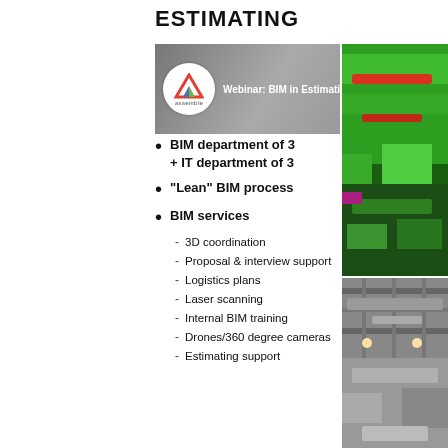ESTIMATING
[Figure (screenshot): Webinar screenshot with Assemble logo and title: Webinar: BIM in Estimating Featuring Co...]
[Figure (photo): 3D BIM coordination model showing green and red MEP components]
BIM department of 3 + IT department of 3
"Lean" BIM process
BIM services
3D coordination
Proposal & interview support
Logistics plans
Laser scanning
Internal BIM training
Drones/360 degree cameras
Estimating support
[Figure (photo): Photo of industrial ceiling with ductwork and MEP installations]